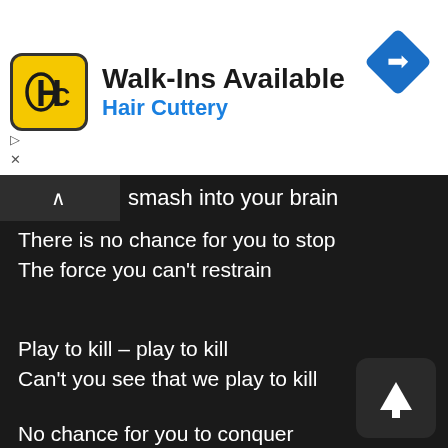[Figure (other): Hair Cuttery advertisement banner with yellow logo, 'Walk-Ins Available' title, blue 'Hair Cuttery' subtitle, and blue navigation diamond icon]
smash into your brain
There is no chance for you to stop
The force you can't restrain
Play to kill – play to kill
Can't you see that we play to kill
No chance for you to conquer
No chance for you to flee
If you've once been beaten by this Machinery
The only way for all of you
To live the whole thing through